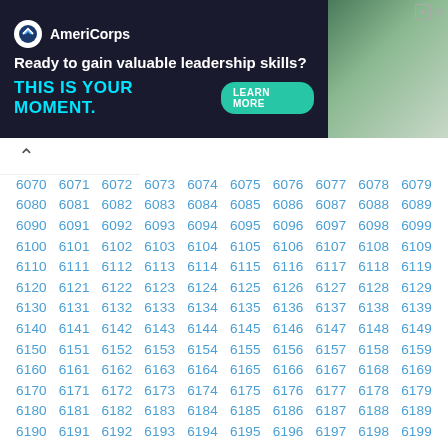[Figure (infographic): AmeriCorps advertisement banner: 'Ready to gain valuable leadership skills? THIS IS YOUR MOMENT.' with LEARN MORE button and photo of people]
| 6070 | 6071 | 6072 | 6073 | 6074 | 6075 | 6076 | 6077 | 6078 | 6079 |
| 6080 | 6081 | 6082 | 6083 | 6084 | 6085 | 6086 | 6087 | 6088 | 6089 |
| 6090 | 6091 | 6092 | 6093 | 6094 | 6095 | 6096 | 6097 | 6098 | 6099 |
| 6100 | 6101 | 6102 | 6103 | 6104 | 6105 | 6106 | 6107 | 6108 | 6109 |
| 6110 | 6111 | 6112 | 6113 | 6114 | 6115 | 6116 | 6117 | 6118 | 6119 |
| 6120 | 6121 | 6122 | 6123 | 6124 | 6125 | 6126 | 6127 | 6128 | 6129 |
| 6130 | 6131 | 6132 | 6133 | 6134 | 6135 | 6136 | 6137 | 6138 | 6139 |
| 6140 | 6141 | 6142 | 6143 | 6144 | 6145 | 6146 | 6147 | 6148 | 6149 |
| 6150 | 6151 | 6152 | 6153 | 6154 | 6155 | 6156 | 6157 | 6158 | 6159 |
| 6160 | 6161 | 6162 | 6163 | 6164 | 6165 | 6166 | 6167 | 6168 | 6169 |
| 6170 | 6171 | 6172 | 6173 | 6174 | 6175 | 6176 | 6177 | 6178 | 6179 |
| 6180 | 6181 | 6182 | 6183 | 6184 | 6185 | 6186 | 6187 | 6188 | 6189 |
| 6190 | 6191 | 6192 | 6193 | 6194 | 6195 | 6196 | 6197 | 6198 | 6199 |
| 6200 | 6201 | 6202 | 6203 | 6204 | 6205 | 6206 | 6207 | 6208 | 6209 |
| 6210 | 6211 | 6212 | 6213 | 6214 | 6215 | 6216 | 6217 | 6218 | 6219 |
| 6220 | 6221 | 6222 | 6223 | 6224 | 6225 | 6226 | 6227 | 6228 | 6229 |
| 6230 | 6231 | 6232 | 6233 | 6234 | 6235 | 6236 | 6237 | 6238 | 6239 |
| 6240 | 6241 | 6242 | 6243 | 6244 | 6245 | 6246 | 6247 | 6248 | 6249 |
| 6250 | 6251 | 6252 | 6253 | 6254 | 6255 | 6256 | 6257 | 6258 | 6259 |